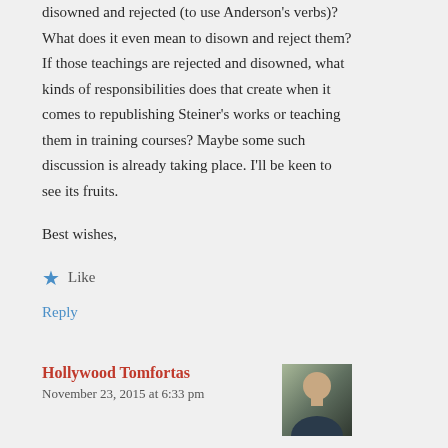disowned and rejected (to use Anderson's verbs)? What does it even mean to disown and reject them? If those teachings are rejected and disowned, what kinds of responsibilities does that create when it comes to republishing Steiner's works or teaching them in training courses? Maybe some such discussion is already taking place. I'll be keen to see its fruits.
Best wishes,
★ Like
Reply
Hollywood Tomfortas
November 23, 2015 at 6:33 pm